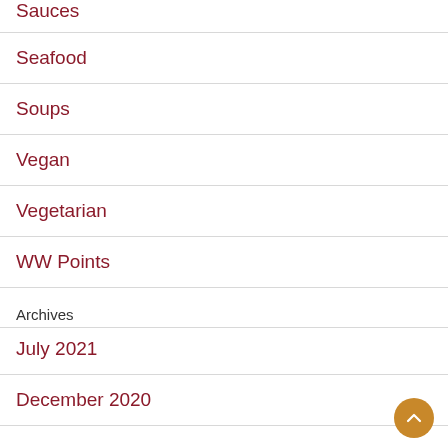Sauces
Seafood
Soups
Vegan
Vegetarian
WW Points
Archives
July 2021
December 2020